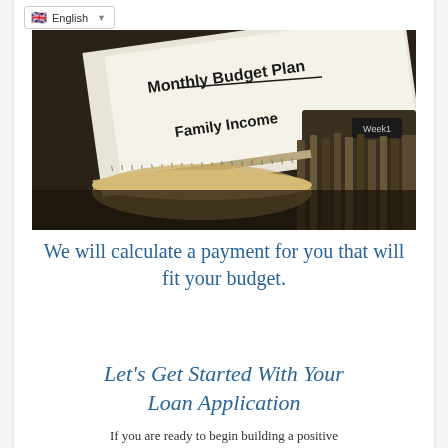[Figure (photo): Close-up photo of a typewriter with a sheet of paper reading 'Monthly Budget Plan' and 'Family Income', with 'Week1' label visible on the typewriter mechanism]
We will calculate a payment for you that will fit your budget.
Let’s Get Started With Your Loan Application
If you are ready to begin building a positive